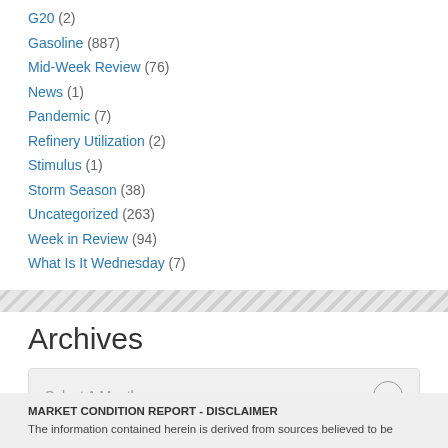G20 (2)
Gasoline (887)
Mid-Week Review (76)
News (1)
Pandemic (7)
Refinery Utilization (2)
Stimulus (1)
Storm Season (38)
Uncategorized (263)
Week in Review (94)
What Is It Wednesday (7)
Archives
Select A Month
MARKET CONDITION REPORT - DISCLAIMER
The information contained herein is derived from sources believed to be